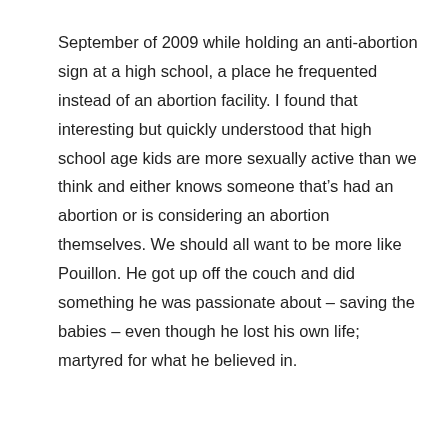September of 2009 while holding an anti-abortion sign at a high school, a place he frequented instead of an abortion facility. I found that interesting but quickly understood that high school age kids are more sexually active than we think and either knows someone that’s had an abortion or is considering an abortion themselves. We should all want to be more like Pouillon. He got up off the couch and did something he was passionate about – saving the babies – even though he lost his own life; martyred for what he believed in.